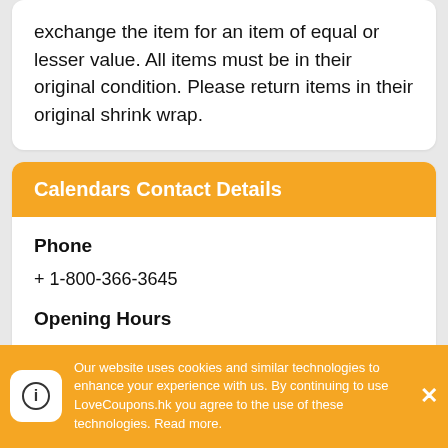exchange the item for an item of equal or lesser value. All items must be in their original condition. Please return items in their original shrink wrap.
Calendars Contact Details
Phone
+ 1-800-366-3645
Opening Hours
Monday - Friday: 8 am - 5 pm CST
Address
Our website uses cookies and similar technologies to enhance your experience with us. By continuing to use LoveCoupons.hk you agree to the use of these technologies. Read more.